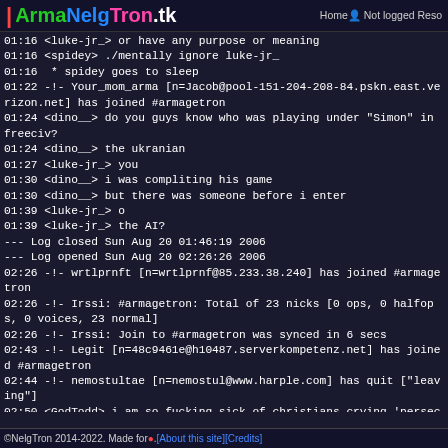| ArmaNelgTron.tk   Home  Not logged  Reso
01:16 <luke-jr_> or have any purpose or meaning
01:16 <spidey> ./mentally ignore luke-jr_
01:16  * spidey goes to sleep
01:22 -!- Your_mom_arma [n=Jacob@pool-151-204-208-84.pskn.east.verizon.net] has joined #armagetron
01:24 <dino__> do you guys know who was playing under "Simon" in freeciv?
01:24 <dino__> the ukranian
01:27 <luke-jr_> you
01:30 <dino__> i was compliting his game
01:30 <dino__> but there was someone before i enter
01:39 <luke-jr_> o
01:39 <luke-jr_> the AI?
--- Log closed Sun Aug 20 01:46:19 2006
--- Log opened Sun Aug 20 02:26:26 2006
02:26 -!- wrtlprnft [n=wrtlprnf@85.233.38.240] has joined #armagetron
02:26 -!- Irssi: #armagetron: Total of 23 nicks [0 ops, 0 halfops, 0 voices, 23 normal]
02:26 -!- Irssi: Join to #armagetron was synced in 6 secs
02:43 -!- Legit [n=48c9461e@h10487.serverkompetenz.net] has joined #armagetron
02:44 -!- nemostultae [n=nemostul@www.harple.com] has quit ["leaving"]
02:50 <GodTodd> i am so fucking sick of christians crying 'persecution'
©NelgTron 2014-2022. Made for 🔴. [About this site] [Credits]